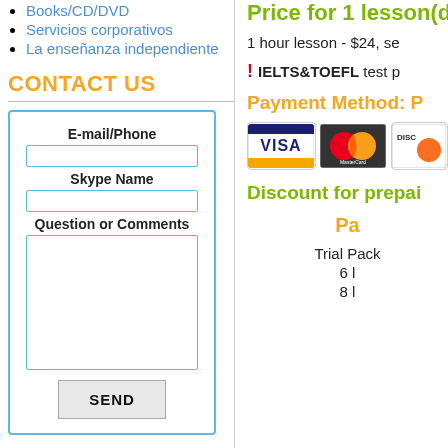Books/CD/DVD
Servicios corporativos
La enseñanza independiente
CONTACT US
[Figure (other): Contact form with fields for E-mail/Phone, Skype Name, Question or Comments, and a SEND button]
Price for 1 lesson(d
1 hour lesson - $24, se
! IELTS&TOEFL test p
Payment Method: P
[Figure (other): Payment method icons: VISA, MasterCard, DISC (Discover)]
Discount for prepai
Pa
Trial Pack
6 l
8 l